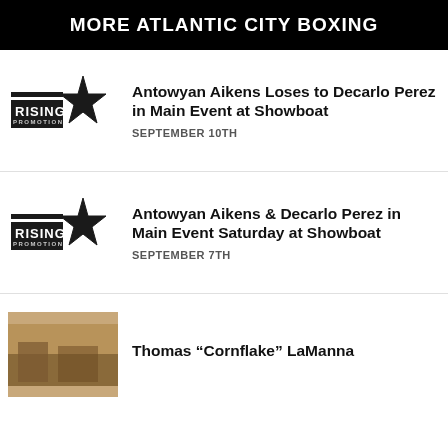MORE ATLANTIC CITY BOXING
Antowyan Aikens Loses to Decarlo Perez in Main Event at Showboat
SEPTEMBER 10TH
Antowyan Aikens & Decarlo Perez in Main Event Saturday at Showboat
SEPTEMBER 7TH
Thomas “Cornflake” LaManna